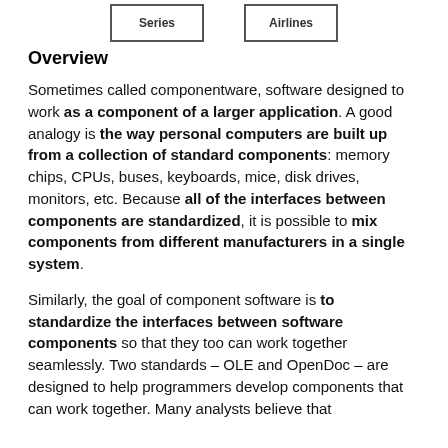[Figure (other): Two boxes labeled 'Series' and 'Airlines' at top of page]
Overview
Sometimes called componentware, software designed to work as a component of a larger application. A good analogy is the way personal computers are built up from a collection of standard components: memory chips, CPUs, buses, keyboards, mice, disk drives, monitors, etc. Because all of the interfaces between components are standardized, it is possible to mix components from different manufacturers in a single system.
Similarly, the goal of component software is to standardize the interfaces between software components so that they too can work together seamlessly. Two standards – OLE and OpenDoc – are designed to help programmers develop components that can work together. Many analysts believe that